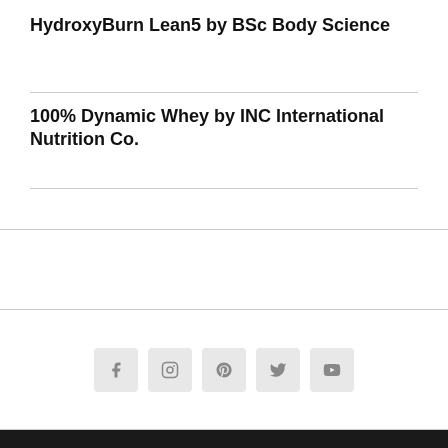HydroxyBurn Lean5 by BSc Body Science
100% Dynamic Whey by INC International Nutrition Co.
[Figure (other): Social media icons: Facebook, Instagram, Pinterest, Twitter, YouTube]
Copyright © 2022 Protein Guy